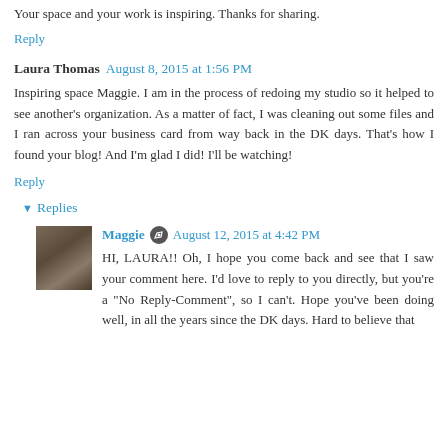Your space and your work is inspiring. Thanks for sharing.
Reply
Laura Thomas  August 8, 2015 at 1:56 PM
Inspiring space Maggie. I am in the process of redoing my studio so it helped to see another's organization. As a matter of fact, I was cleaning out some files and I ran across your business card from way back in the DK days. That's how I found your blog! And I'm glad I did! I'll be watching!
Reply
▼ Replies
Maggie  August 12, 2015 at 4:42 PM
HI, LAURA!! Oh, I hope you come back and see that I saw your comment here. I'd love to reply to you directly, but you're a "No Reply-Comment", so I can't. Hope you've been doing well, in all the years since the DK days. Hard to believe that